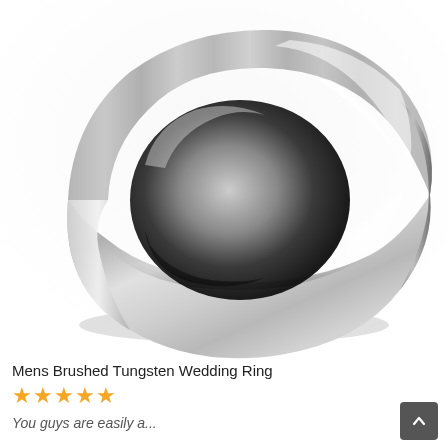[Figure (photo): A mens brushed tungsten wedding band ring with beveled edges. The ring is shown at a slight angle on a white background. The surface has a brushed matte center and polished beveled edges, giving it a silver/grey metallic appearance.]
Mens Brushed Tungsten Wedding Ring
★★★★★
You guys are easily a...